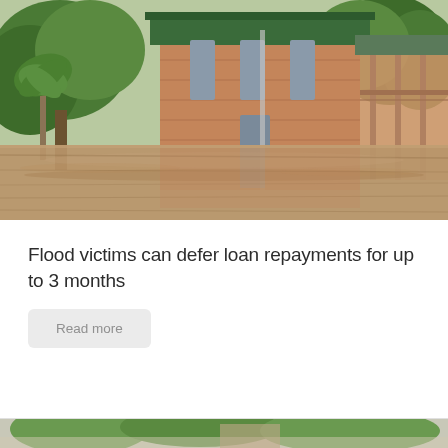[Figure (photo): A flooded residential area showing a brick house partially submerged in brown floodwater, surrounded by palm trees and tropical vegetation. The water level reaches the lower windows of the house.]
Flood victims can defer loan repayments for up to 3 months
Read more
[Figure (photo): Partial view of another image at the bottom of the page showing tropical vegetation and what appears to be another building.]